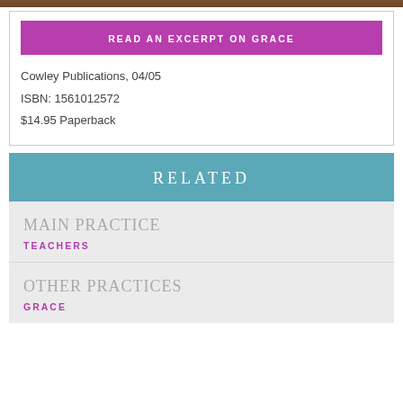READ AN EXCERPT ON GRACE
Cowley Publications, 04/05
ISBN: 1561012572
$14.95 Paperback
RELATED
MAIN PRACTICE
TEACHERS
OTHER PRACTICES
GRACE